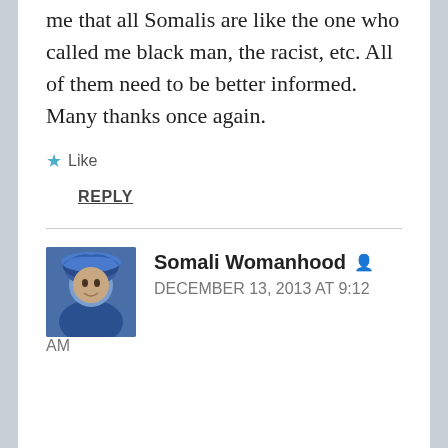me that all Somalis are like the one who called me black man, the racist, etc. All of them need to be better informed. Many thanks once again.
★ Like
REPLY
[Figure (photo): Avatar photo of Somali Womanhood commenter wearing a blue head covering]
Somali Womanhood
DECEMBER 13, 2013 AT 9:12 AM